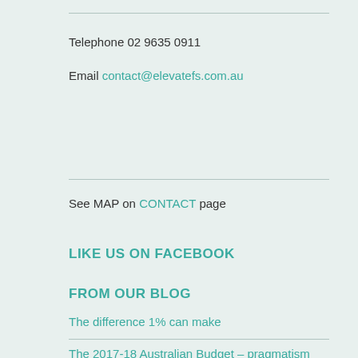Telephone 02 9635 0911
Email contact@elevatefs.com.au
See MAP on CONTACT page
LIKE US ON FACEBOOK
FROM OUR BLOG
The difference 1% can make
The 2017-18 Australian Budget – pragmatism and fairness rule